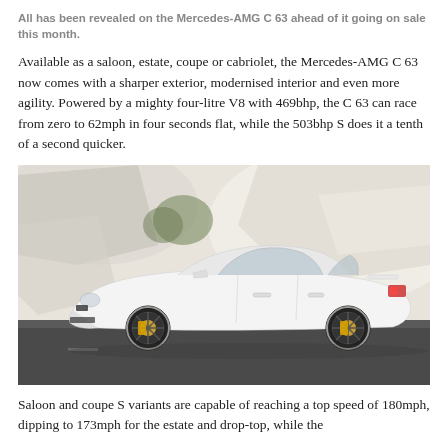All has been revealed on the Mercedes-AMG C 63 ahead of it going on sale this month.
Available as a saloon, estate, coupe or cabriolet, the Mercedes-AMG C 63 now comes with a sharper exterior, modernised interior and even more agility. Powered by a mighty four-litre V8 with 469bhp, the C 63 can race from zero to 62mph in four seconds flat, while the 503bhp S does it a tenth of a second quicker.
[Figure (photo): White Mercedes-AMG C 63 coupe photographed from the side, driving on a road with white architectural structures in the background.]
Saloon and coupe S variants are capable of reaching a top speed of 180mph, dipping to 173mph for the estate and drop-top, while the